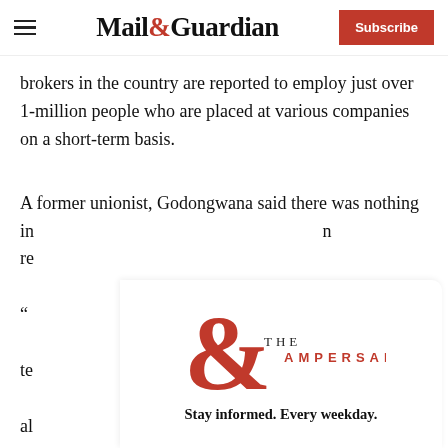Mail&Guardian | Subscribe
brokers in the country are reported to employ just over 1-million people who are placed at various companies on a short-term basis.
A former unionist, Godongwana said there was nothing in the Constitution that prevented the government from re...
[Figure (logo): The Ampersand newsletter logo — large red ampersand with 'THE AMPERSAND' text]
Stay informed. Every weekday.